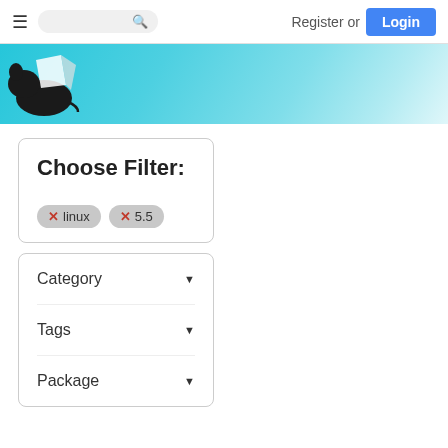Register or Login
[Figure (screenshot): Website banner with teal/cyan gradient background and a black rat/mouse logo on the left]
Choose Filter:
✕ linux  ✕ 5.5
Category ▾
Tags ▾
Package ▾